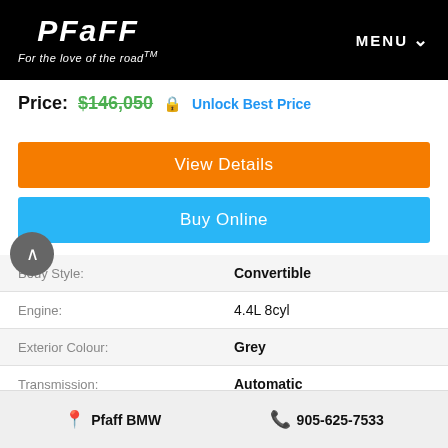PFAFF — For the love of the road™ | MENU
Price: $146,050  🔒 Unlock Best Price
View Details
Buy Online
|  |  |
| --- | --- |
| Body Style: | Convertible |
| Engine: | 4.4L 8cyl |
| Exterior Colour: | Grey |
| Transmission: | Automatic |
| Drivetrain: | All Wheel Drive |
| Stock #: | 25698 |
| City: | Mississauga |
📍 Pfaff BMW    📞 905-625-7533